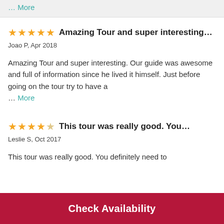… More
Amazing Tour and super interesting…
Joao P, Apr 2018
Amazing Tour and super interesting. Our guide was awesome and full of information since he lived it himself. Just before going on the tour try to have a … More
This tour was really good. You…
Leslie S, Oct 2017
This tour was really good. You definitely need to
Check Availability